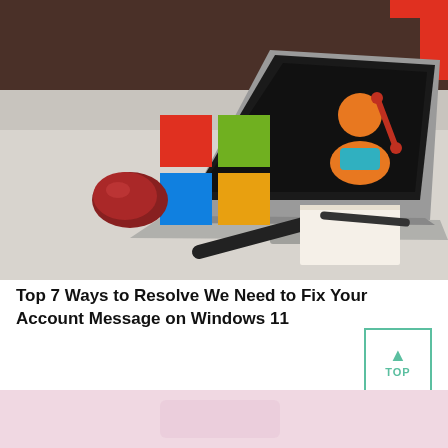[Figure (photo): A laptop on a desk with a Microsoft Windows logo (four colored squares: red, green, blue, orange) overlaid on the left side, and a user/account icon with a wrench tool on the dark laptop screen. A red mouse, black marker, and pen visible on the desk.]
Top 7 Ways to Resolve We Need to Fix Your Account Message on Windows 11
[Figure (photo): Partial view of a pink/light background image, partially cropped at the bottom of the page.]